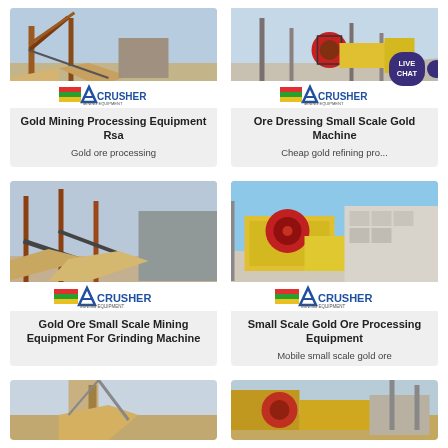[Figure (photo): Mining conveyor equipment photo with ACRUSHER logo]
Gold Mining Processing Equipment Rsa
Gold ore processing
[Figure (photo): Gold ore dressing equipment photo with ACRUSHER logo and Live Chat bubble]
Ore Dressing Small Scale Gold Machine
Cheap gold refining pro...
[Figure (photo): Small scale mining equipment for grinding with ACRUSHER logo]
Gold Ore Small Scale Mining Equipment For Grinding Machine
[Figure (photo): Small scale gold ore processing equipment with ACRUSHER logo]
Small Scale Gold Ore Processing Equipment
Mobile small scale gold ore
[Figure (photo): Partially visible mining equipment photo (bottom card left)]
[Figure (photo): Partially visible mining equipment photo (bottom card right)]